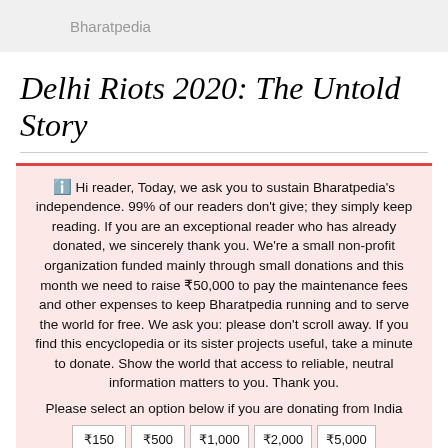Bharatpedia
Delhi Riots 2020: The Untold Story
🛈 Hi reader, Today, we ask you to sustain Bharatpedia's independence. 99% of our readers don't give; they simply keep reading. If you are an exceptional reader who has already donated, we sincerely thank you. We're a small non-profit organization funded mainly through small donations and this month we need to raise ₹50,000 to pay the maintenance fees and other expenses to keep Bharatpedia running and to serve the world for free. We ask you: please don't scroll away. If you find this encyclopedia or its sister projects useful, take a minute to donate. Show the world that access to reliable, neutral information matters to you. Thank you.
Please select an option below if you are donating from India
| ₹150 | ₹500 | ₹1,000 | ₹2,000 | ₹5,000 |
| --- | --- | --- | --- | --- |